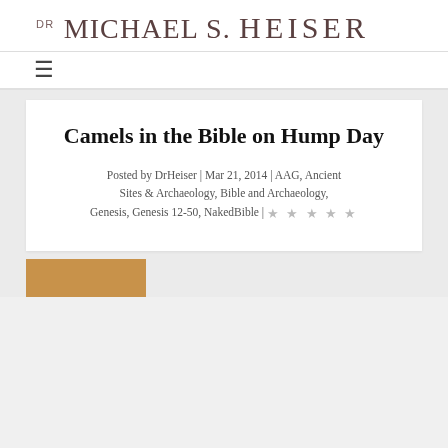DR MICHAEL S. HEISER
Camels in the Bible on Hump Day
Posted by DrHeiser | Mar 21, 2014 | AAG, Ancient Sites & Archaeology, Bible and Archaeology, Genesis, Genesis 12-50, NakedBible |
[Figure (photo): Partial image of a camel or desert scene, cropped at the bottom of the page]